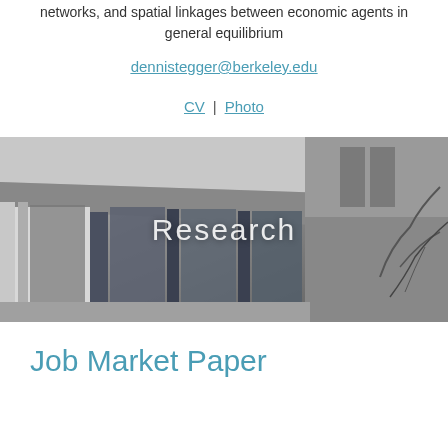networks, and spatial linkages between economic agents in general equilibrium
dennistegger@berkeley.edu
CV | Photo
[Figure (photo): Black and white architectural photograph of a building exterior with concrete overhang and glass windows, with trees visible in background. Text overlay reads 'Research']
Job Market Paper